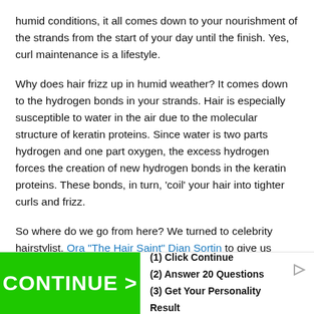humid conditions, it all comes down to your nourishment of the strands from the start of your day until the finish. Yes, curl maintenance is a lifestyle.
Why does hair frizz up in humid weather? It comes down to the hydrogen bonds in your strands. Hair is especially susceptible to water in the air due to the molecular structure of keratin proteins. Since water is two parts hydrogen and one part oxygen, the excess hydrogen forces the creation of new hydrogen bonds in the keratin proteins. These bonds, in turn, 'coil' your hair into tighter curls and frizz.
So where do we go from here? We turned to celebrity hairstylist, Ora "The Hair Saint" Dian Sortin to give us pointers
[Figure (other): Advertisement banner with green button labeled CONTINUE > and text: (1) Click Continue, (2) Answer 20 Questions, (3) Get Your Personality Result]